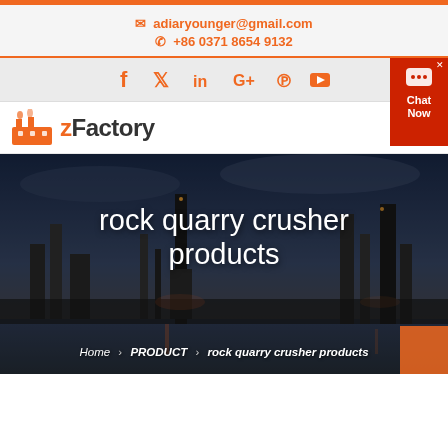adiaryounger@gmail.com | +86 0371 8654 9132
[Figure (screenshot): Social media icons: Facebook, Twitter, LinkedIn, Google+, Pinterest, YouTube in orange]
[Figure (logo): zFactory logo with orange factory icon and bold text]
[Figure (photo): Industrial/factory scene at dusk with title 'rock quarry crusher products' overlaid in white text. Breadcrumb: Home > PRODUCT > rock quarry crusher products]
rock quarry crusher products
Home > PRODUCT > rock quarry crusher products